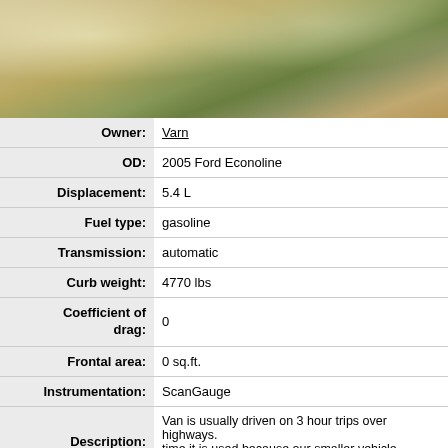[Figure (photo): Outdoor photo of a ground covered with white/beige fallen leaves or blossoms, with patches of green grass visible underneath]
| Field | Value |
| --- | --- |
| Owner | Varn |
| OD | 2005 Ford Econoline |
| Displacement | 5.4 L |
| Fuel type | gasoline |
| Transmission | automatic |
| Curb weight | 4770 lbs |
| Coefficient of drag | 0 |
| Frontal area | 0 sq.ft. |
| Instrumentation | ScanGauge |
| Description | Van is usually driven on 3 hour trips over highways. time it is used because our smaller vehicle doesn't... |